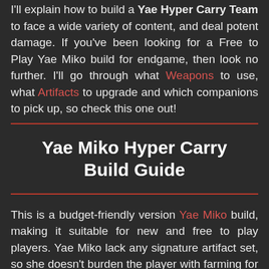I'll explain how to build a Yae Hyper Carry Team to face a wide variety of content, and deal potent damage. If you've been looking for a Free to Play Yae Miko build for endgame, then look no further. I'll go through what Weapons to use, what Artifacts to upgrade and which companions to pick up, so check this one out!
Yae Miko Hyper Carry Build Guide
This is a budget-friendly version Yae Miko build, making it suitable for new and free to play players. Yae Miko lack any signature artifact set, so she doesn't burden the player with farming for a specific set. She's super easy to kick off with any mixed pieces, and she can reach her maximum potential much faster than most other DPS